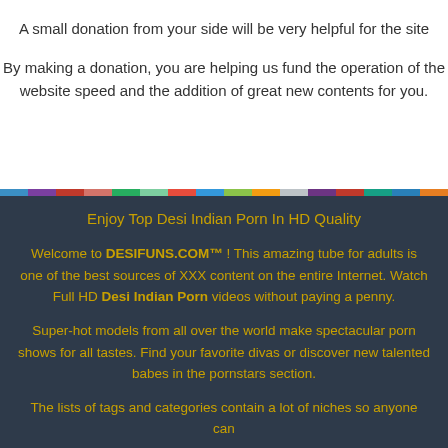A small donation from your side will be very helpful for the site
By making a donation, you are helping us fund the operation of the website speed and the addition of great new contents for you.
[Figure (other): Rainbow colored horizontal bar divider]
Enjoy Top Desi Indian Porn In HD Quality
Welcome to DESIFUNS.COM™ ! This amazing tube for adults is one of the best sources of XXX content on the entire Internet. Watch Full HD Desi Indian Porn videos without paying a penny.
Super-hot models from all over the world make spectacular porn shows for all tastes. Find your favorite divas or discover new talented babes in the pornstars section.
The lists of tags and categories contain a lot of niches so anyone can